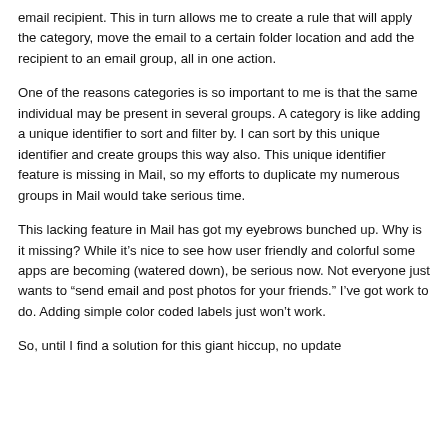email recipient. This in turn allows me to create a rule that will apply the category, move the email to a certain folder location and add the recipient to an email group, all in one action.
One of the reasons categories is so important to me is that the same individual may be present in several groups. A category is like adding a unique identifier to sort and filter by. I can sort by this unique identifier and create groups this way also. This unique identifier feature is missing in Mail, so my efforts to duplicate my numerous groups in Mail would take serious time.
This lacking feature in Mail has got my eyebrows bunched up. Why is it missing? While it’s nice to see how user friendly and colorful some apps are becoming (watered down), be serious now. Not everyone just wants to “send email and post photos for your friends.” I’ve got work to do. Adding simple color coded labels just won’t work.
So, until I find a solution for this giant hiccup, no update